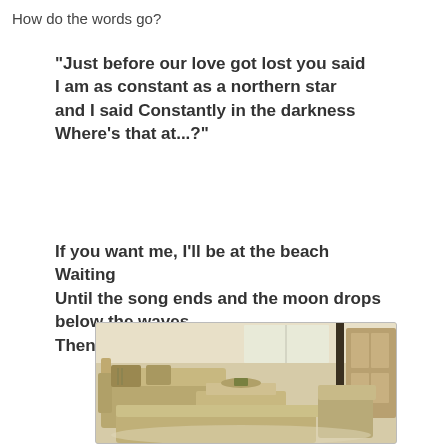How do the words go?
“Just before our love got lost you said
I am as constant as a northern star
and I said Constantly in the darkness
Where’s that at…?”
If you want me, I’ll be at the beach
Waiting
Until the song ends and the moon drops below the waves.
Then, what am I to think?
[Figure (photo): A living room scene with beige/tan upholstered sofas, a coffee table, decorative items, and what appears to be a wooden cabinet in the background.]